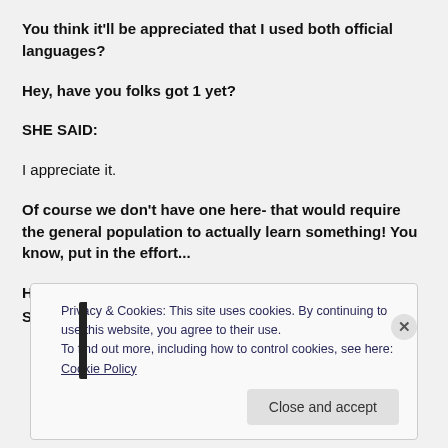You think it'll be appreciated that I used both official languages?
Hey, have you folks got 1 yet?
SHE SAID:
I appreciate it.
Of course we don't have one here- that would require the general population to actually learn something! You know, put in the effort...
HE SAID:
SNARKASM!
Privacy & Cookies: This site uses cookies. By continuing to use this website, you agree to their use.
To find out more, including how to control cookies, see here: Cookie Policy